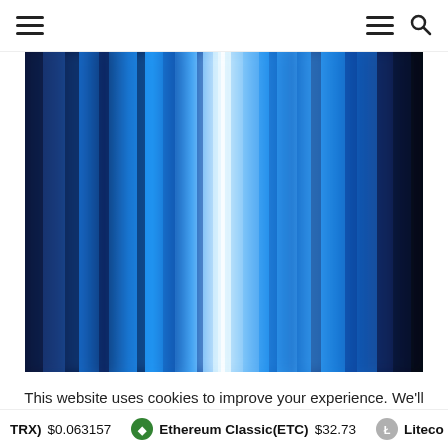Navigation header with hamburger menu left, hamburger menu right, and search icon
[Figure (photo): Abstract blue and dark navy vertical streaks/bars pattern, resembling a light spectrum or bokeh effect with a bright white stripe near center-left.]
This website uses cookies to improve your experience. We'll assume you're ok with this, but you can opt-out if you wish.
TRX) $0.063157   Ethereum Classic(ETC) $32.73   Liteco